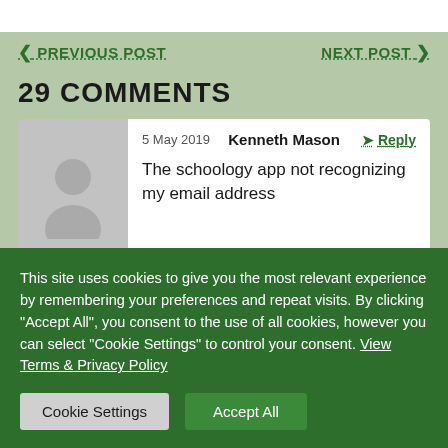< PREVIOUS POST    NEXT POST >
29 COMMENTS
5 May 2019  Kenneth Mason  Reply
The schoology app not recognizing my email address
This site uses cookies to give you the most relevant experience by remembering your preferences and repeat visits. By clicking "Accept All", you consent to the use of all cookies, however you can select "Cookie Settings" to control your consent. View Terms & Privacy Policy
Cookie Settings   Accept All